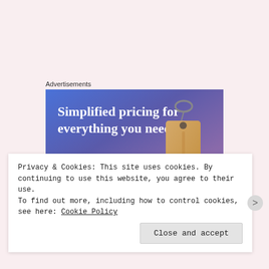Advertisements
[Figure (illustration): Advertisement banner with blue-purple gradient background showing text 'Simplified pricing for everything you need.' with a pink 'Build Your Website' button and a price tag illustration on the right.]
Privacy & Cookies: This site uses cookies. By continuing to use this website, you agree to their use.
To find out more, including how to control cookies, see here: Cookie Policy
Close and accept